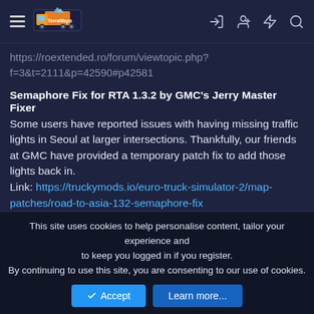TerrraMaps navigation bar with hamburger menu, logo, and icons for login, add user, notifications, and search
https://roextended.ro/forum/viewtopic.php?f=3&t=2111&p=42590#p42581
Semaphore Fix for RTA 1.3.2 by GMC's Jerry Master Fixer
Some users have reported issues with having missing traffic lights in Seoul at larger intersections. Thankfully, our friends at GMC have provided a temporary patch fix to add those lights back in.
Link: https://truckymods.io/euro-truck-simulator-2/map-patches/road-to-asia-132-semaphore-fix
This fix will be incorporated in the next version of RTA. For now, please utilize this fix. Thanks again to our Partners for their cooperation, GMC and Jerry!
This site uses cookies to help personalise content, tailor your experience and to keep you logged in if you register.
By continuing to use this site, you are consenting to our use of cookies.